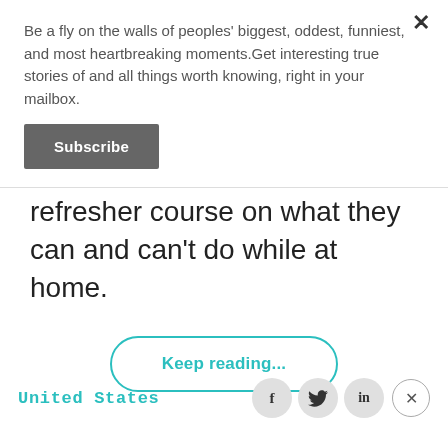Be a fly on the walls of peoples' biggest, oddest, funniest, and most heartbreaking moments.Get interesting true stories of and all things worth knowing, right in your mailbox.
Subscribe
refresher course on what they can and can't do while at home.
Keep reading...
United States
[Figure (infographic): Social media share icons: Facebook (f), Twitter (bird), LinkedIn (in), and a dismiss circle with X]